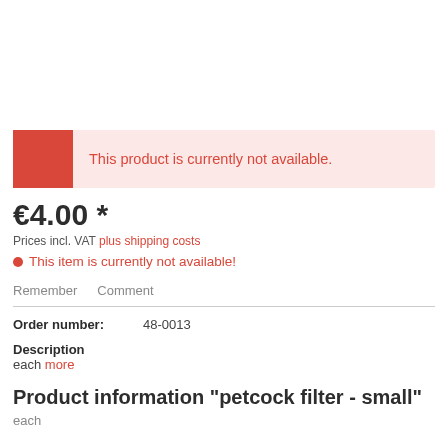This product is currently not available.
€4.00 *
Prices incl. VAT plus shipping costs
This item is currently not available!
Remember   Comment
Order number:   48-0013
Description
each more
Product information "petcock filter - small"
each